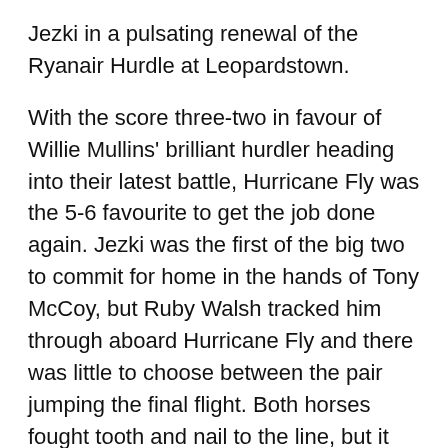Jezki in a pulsating renewal of the Ryanair Hurdle at Leopardstown.
With the score three-two in favour of Willie Mullins' brilliant hurdler heading into their latest battle, Hurricane Fly was the 5-6 favourite to get the job done again. Jezki was the first of the big two to commit for home in the hands of Tony McCoy, but Ruby Walsh tracked him through aboard Hurricane Fly and there was little to choose between the pair jumping the final flight. Both horses fought tooth and nail to the line, but it was Hurricane Fly who brought the house down with another determined success.
Jezki was one of three runners in the field for leading owner JP McManus and his two other participants, Plinth and Alderwood, did their best to give the Jessica Harrington-trained Champion Hurdle hero a tow into the race.